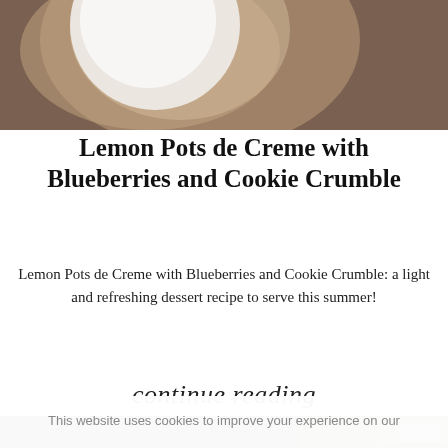[Figure (photo): Top portion of a food photo showing a white plate on a wooden board with dark wood background]
Lemon Pots de Creme with Blueberries and Cookie Crumble
Lemon Pots de Creme with Blueberries and Cookie Crumble: a light and refreshing dessert recipe to serve this summer!
continue reading
[Figure (photo): Bottom portion of a food photograph]
This website uses cookies to improve your experience on our website. Click here for more information.
ACCEPT | COOKIE SETTINGS